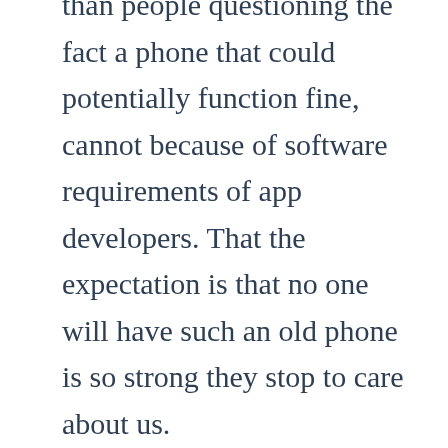than people questioning the fact a phone that could potentially function fine, cannot because of software requirements of app developers. That the expectation is that no one will have such an old phone is so strong they stop to care about us.

This doesn't seem sustainable to